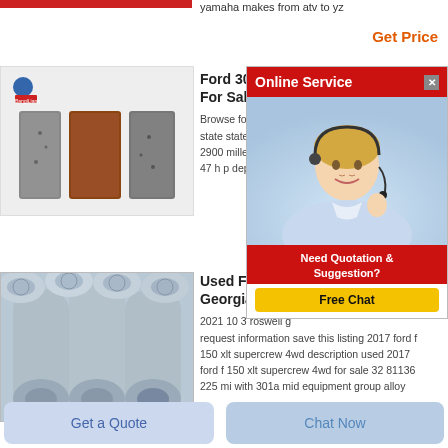[Figure (screenshot): Red header bar (partial)]
yamaha makes from atv to yz
Get Price
[Figure (screenshot): Online Service popup with close button, customer service agent photo, Need Quotation & Suggestion? Free Chat button]
[Figure (photo): Product image showing gray/brown rectangular filter pad samples]
Ford 3000 Tra... For Sale
Browse for sale listi state state capital a 2900 milledgeville 1 47 h p dependable
[Figure (photo): Photo of gray industrial cylindrical pipes/tubes stacked together]
Used Ford F 1... Georgia With...
2021 10 3 roswell g request information save this listing 2017 ford f 150 xlt supercrew 4wd description used 2017 ford f 150 xlt supercrew 4wd for sale 32 81136 225 mi with 301a mid equipment group alloy
Get a Quote
Chat Now